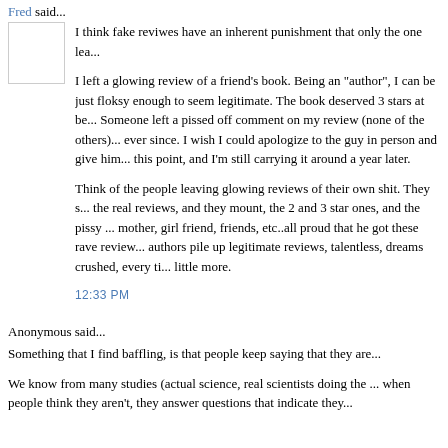Fred said...
I think fake reviwes have an inherent punishment that only the one lea...
I left a glowing review of a friend's book. Being an "author", I can be just floksy enough to seem legitimate. The book deserved 3 stars at be... Someone left a pissed off comment on my review (none of the others)... ever since. I wish I could apologize to the guy in person and give him... this point, and I'm still carrying it around a year later.
Think of the people leaving glowing reviews of their own shit. They s... the real reviews, and they mount, the 2 and 3 star ones, and the pissy ... mother, girl friend, friends, etc..all proud that he got these rave review... authors pile up legitimate reviews, talentless, dreams crushed, every ti... little more.
12:33 PM
Anonymous said...
Something that I find baffling, is that people keep saying that they are...
We know from many studies (actual science, real scientists doing the ... when people think they aren't, they answer questions that indicate they...